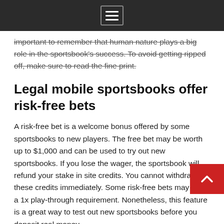[navigation menu icon]
important to remember that human nature plays a big role in the sportsbook's success. To avoid getting ripped off, make sure to read the fine print.
Legal mobile sportsbooks offer risk-free bets
A risk-free bet is a welcome bonus offered by some sportsbooks to new players. The free bet may be worth up to $1,000 and can be used to try out new sportsbooks. If you lose the wager, the sportsbook will refund your stake in site credits. You cannot withdraw these credits immediately. Some risk-free bets may have a 1x play-through requirement. Nonetheless, this feature is a great way to test out new sportsbooks before you deposit real money.
Another risk-free bet promotion that is becoming more popular is the money-back guarantee or bonus cash offered by sportsbooks. The money-back guarantee or bonus cash